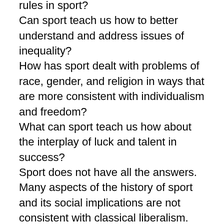rules in sport?
Can sport teach us how to better understand and address issues of inequality?
How has sport dealt with problems of race, gender, and religion in ways that are more consistent with individualism and freedom?
What can sport teach us how about the interplay of luck and talent in success?
Sport does not have all the answers. Many aspects of the history of sport and its social implications are not consistent with classical liberalism. Nevertheless, sport is a window into what it means to be human and so it can bring insight into important questions that classical liberalism seeks to address.
Shawn E. Klein is an instructor of philosophy at Arizona State University. He specializes in